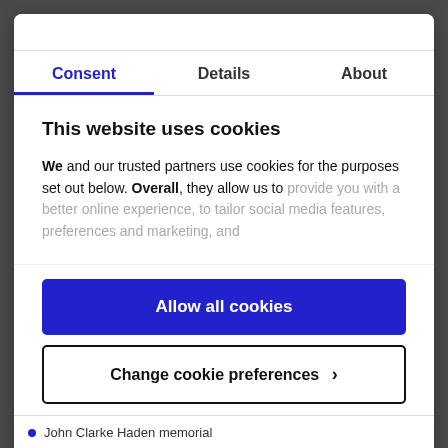Consent | Details | About
This website uses cookies
We and our trusted partners use cookies for the purposes set out below. Overall, they allow us to provide you with a better online experience, to tailor social media features, preferences and marketing, and
Allow all cookies
Change cookie preferences >
Powered by Cookiebot by Usercentrics
John Clarke Haden memorial